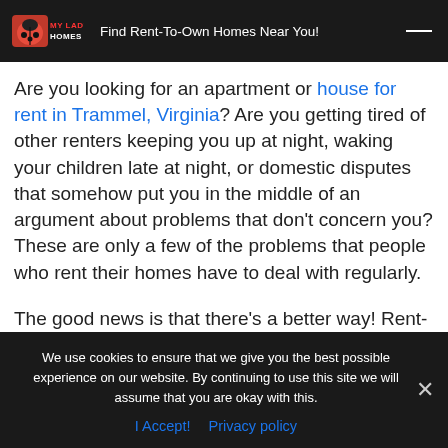My Ladybug Homes — Find Rent-To-Own Homes Near You!
Are you looking for an apartment or house for rent in Trammel, Virginia? Are you getting tired of other renters keeping you up at night, waking your children late at night, or domestic disputes that somehow put you in the middle of an argument about problems that don't concern you? These are only a few of the problems that people who rent their homes have to deal with regularly.
The good news is that there's a better way! Rent-to-Own homes in Trammel VA are harder to find, but worth it for those who don't want other people living
We use cookies to ensure that we give you the best possible experience on our website. By continuing to use this site we will assume that you are okay with this.
I Accept!  Privacy policy